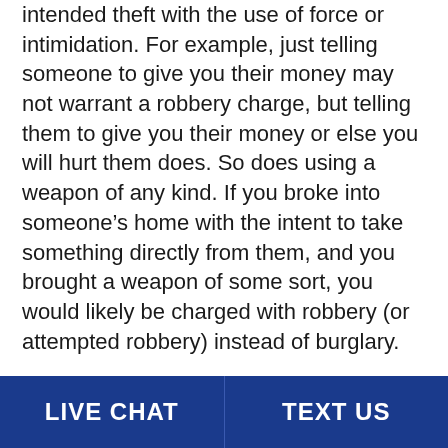intended theft with the use of force or intimidation. For example, just telling someone to give you their money may not warrant a robbery charge, but telling them to give you their money or else you will hurt them does. So does using a weapon of any kind. If you broke into someone's home with the intent to take something directly from them, and you brought a weapon of some sort, you would likely be charged with robbery (or attempted robbery) instead of burglary.
In the state of Texas, any level of felony conviction involves prison time. Burglaries are typically lower-level felonies with lesser fines and shorter time behind bars, while robberies are usually higher-level and can lead to life in prison if convicted. Of course, like with...
LIVE CHAT   TEXT US